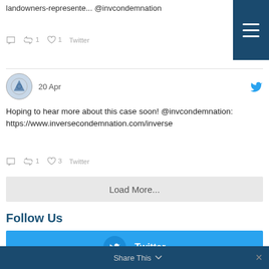landowners-represente... @invcondemnation
1 retweet 1 like Twitter
20 Apr
Hoping to hear more about this case soon! @invcondemnation: https://www.inversecondemnation.com/inverse
1 retweet 3 likes Twitter
Load More...
Follow Us
[Figure (screenshot): Twitter follow button - light blue box with Twitter bird icon and label 'Twitter']
Share This